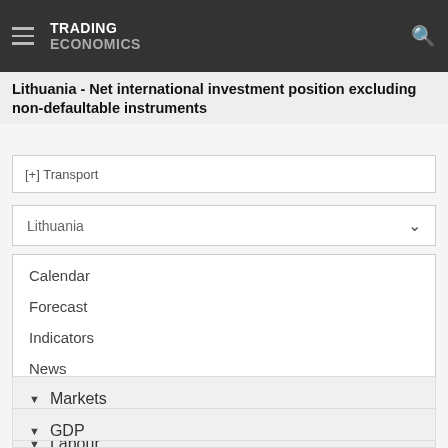TRADING ECONOMICS
Lithuania - Net international investment position excluding non-defaultable instruments
[+] Transport
Lithuania
Calendar
Forecast
Indicators
News
Markets
GDP
Labour